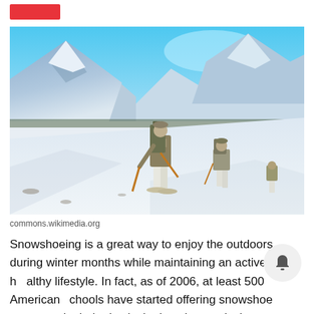[Figure (photo): Soldiers or hikers in winter camouflage gear with heavy backpacks and trekking poles snowshoeing across a snowy mountainous landscape with mountains and a valley in the background under a blue sky.]
commons.wikimedia.org
Snowshoeing is a great way to enjoy the outdoors during winter months while maintaining an active and healthy lifestyle. In fact, as of 2006, at least 500 American schools have started offering snowshoe programs in their physical education curriculum to help combat obesity.